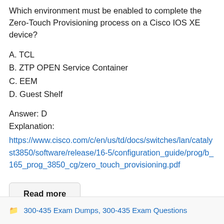Which environment must be enabled to complete the Zero-Touch Provisioning process on a Cisco IOS XE device?
A. TCL
B. ZTP OPEN Service Container
C. EEM
D. Guest Shelf
Answer: D
Explanation:
https://www.cisco.com/c/en/us/td/docs/switches/lan/catalyst3850/software/release/16-5/configuration_guide/prog/b_165_prog_3850_cg/zero_touch_provisioning.pdf
Read more
300-435 Exam Dumps, 300-435 Exam Questions